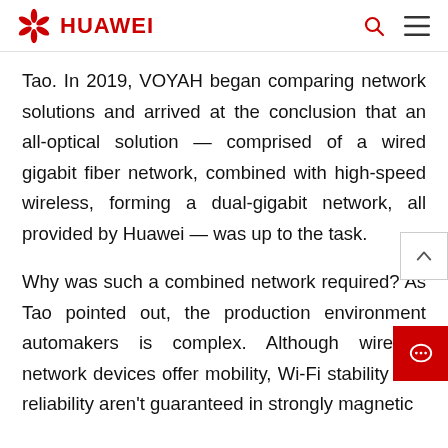HUAWEI
Tao. In 2019, VOYAH began comparing network solutions and arrived at the conclusion that an all-optical solution — comprised of a wired gigabit fiber network, combined with high-speed wireless, forming a dual-gigabit network, all provided by Huawei — was up to the task.
Why was such a combined network required? As Tao pointed out, the production environment automakers is complex. Although wireless network devices offer mobility, Wi-Fi stability and reliability aren't guaranteed in strongly magnetic